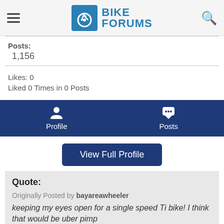Bike Forums
Posts: 1,156
Likes: 0
Liked 0 Times in 0 Posts
[Figure (screenshot): Navigation bar with Profile and Posts icons on dark blue background]
View Full Profile
Quote:
Originally Posted by bayareawheeler
keeping my eyes open for a single speed Ti bike! I think that would be uber pimp
mine is fixed, so can i be the uber-pimp?